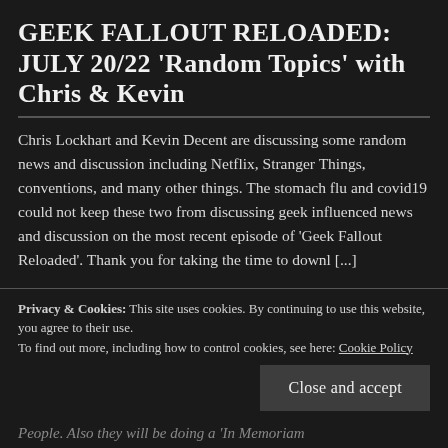GEEK FALLOUT RELOADED: JULY 20/22 'Random Topics' with Chris & Kevin
Chris Lockhart and Kevin Decent are discussing some random news and discussion including Netflix, Stranger Things, conventions, and many other things. The stomach flu and covid19 could not keep these two from discussing geek influenced news and discussion on the most recent episode of 'Geek Fallout Reloaded'. Thank you for taking the time to downl [...]
Privacy & Cookies: This site uses cookies. By continuing to use this website, you agree to their use.
To find out more, including how to control cookies, see here: Cookie Policy
Close and accept
People. Also they will be doing a 'In Memoriam